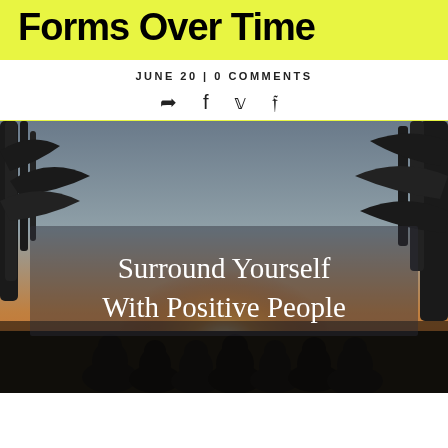Forms Over Time
JUNE 20 | 0 COMMENTS
↗ f 𝕐 ℗
[Figure (photo): Group of people (silhouettes) sitting together outdoors watching a sunset through trees, with overlaid text 'Surround Yourself With Positive People']